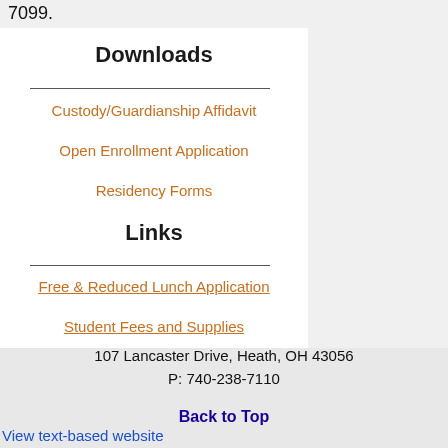7099.
Downloads
Custody/Guardianship Affidavit
Open Enrollment Application
Residency Forms
Links
Free & Reduced Lunch Application
Student Fees and Supplies
107 Lancaster Drive, Heath, OH 43056
P: 740-238-7110
Back to Top
View text-based website